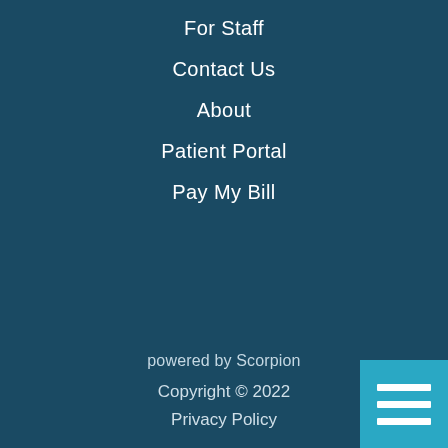For Staff
Contact Us
About
Patient Portal
Pay My Bill
powered by Scorpion
Copyright © 2022
Privacy Policy